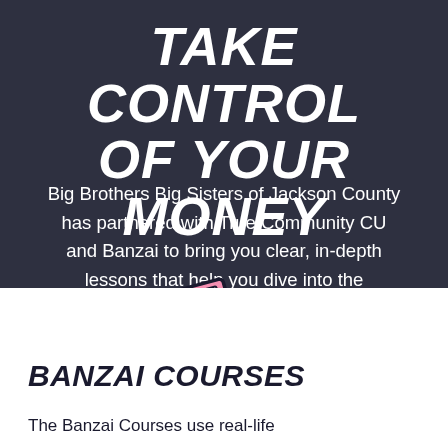TAKE CONTROL OF YOUR MONEY
Big Brothers Big Sisters of Jackson County has partnered with True Community CU and Banzai to bring you clear, in-depth lessons that help you dive into the financial topics you care most about.
[Figure (illustration): Pink illustrated laptop icon, rotated slightly, with dark outline on dark background]
BANZAI COURSES
The Banzai Courses use real-life